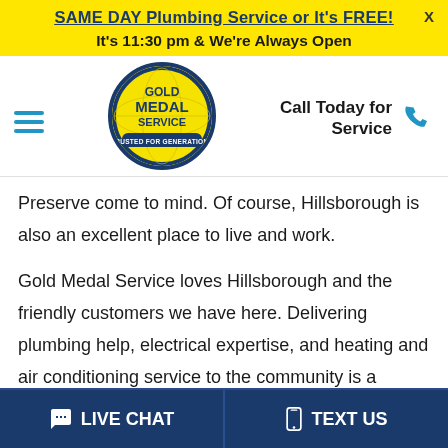SAME DAY Plumbing Service or It's FREE!
It's 11:30 pm & We're Always Open
[Figure (logo): Gold Medal Service logo - circular badge with yellow background and dark blue text reading GOLD MEDAL SERVICE, TRUSTED FOR GENERATIONS]
Call Today for Service
Preserve come to mind. Of course, Hillsborough is also an excellent place to live and work.
Gold Medal Service loves Hillsborough and the friendly customers we have here. Delivering plumbing help, electrical expertise, and heating and air conditioning service to the community is a highlight of our work. We
LIVE CHAT   TEXT US